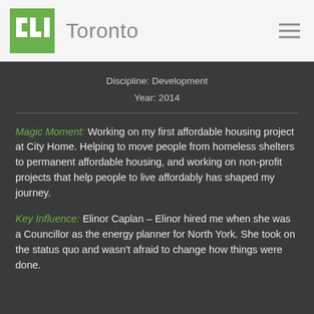ULI Toronto
Discipline: Development
Year: 2014
Magic Moment: Working on my first affordable housing project at City Home. Helping to move people from homeless shelters to permanent affordable housing, and working on non-profit projects that help people to live affordably has shaped my journey.
Key Influence: Elinor Caplan – Elinor hired me when she was a Councillor as the energy planner for North York. She took on the status quo and wasn't afraid to change how things were done.